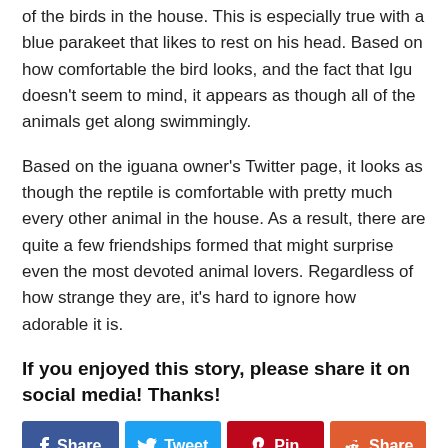of the birds in the house. This is especially true with a blue parakeet that likes to rest on his head. Based on how comfortable the bird looks, and the fact that Igu doesn't seem to mind, it appears as though all of the animals get along swimmingly.
Based on the iguana owner's Twitter page, it looks as though the reptile is comfortable with pretty much every other animal in the house. As a result, there are quite a few friendships formed that might surprise even the most devoted animal lovers. Regardless of how strange they are, it's hard to ignore how adorable it is.
If you enjoyed this story, please share it on social media! Thanks!
[Figure (infographic): Social media share buttons: Facebook Share, Twitter Tweet, Pinterest Pin, Reddit Share]